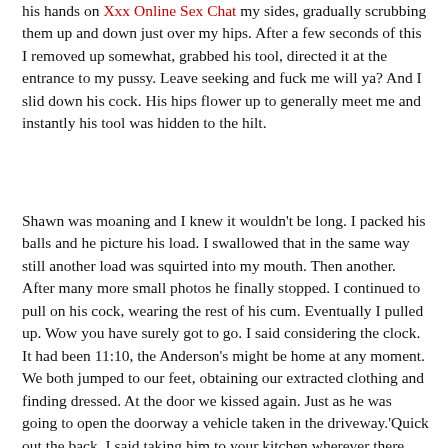his hands on Xxx Online Sex Chat my sides, gradually scrubbing them up and down just over my hips. After a few seconds of this I removed up somewhat, grabbed his tool, directed it at the entrance to my pussy. Leave seeking and fuck me will ya? And I slid down his cock. His hips flower up to generally meet me and instantly his tool was hidden to the hilt.
Shawn was moaning and I knew it wouldn't be long. I packed his balls and he picture his load. I swallowed that in the same way still another load was squirted into my mouth. Then another. After many more small photos he finally stopped. I continued to pull on his cock, wearing the rest of his cum. Eventually I pulled up. Wow you have surely got to go. I said considering the clock. It had been 11:10, the Anderson's might be home at any moment. We both jumped to our feet, obtaining our extracted clothing and finding dressed. At the door we kissed again. Just as he was going to open the doorway a vehicle taken in the driveway.'Quick out the back. I said taking him to your kitchen wherever there